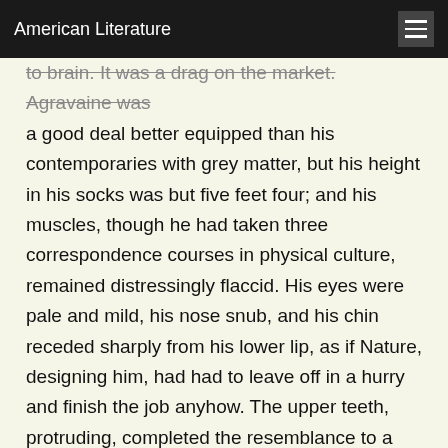American Literature
to brain. It was a drag on the market. Agravaine was a good deal better equipped than his contemporaries with grey matter, but his height in his socks was but five feet four; and his muscles, though he had taken three correspondence courses in physical culture, remained distressingly flaccid. His eyes were pale and mild, his nose snub, and his chin receded sharply from his lower lip, as if Nature, designing him, had had to leave off in a hurry and finish the job anyhow. The upper teeth, protruding, completed the resemblance to a nervous rabbit.
Handicapped in this manner, it is no wonder that he should feel sad and lonely in King Arthur's court. At least he had four or more days to come...